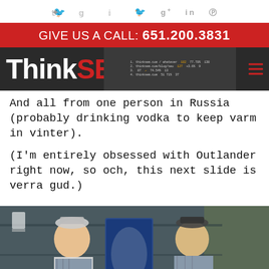Social icons: Twitter, Google+, LinkedIn, Pinterest
GIVE US A CALL: 651.200.3831
[Figure (logo): ThinkSEM logo on dark navigation bar with analytics screenshot and hamburger menu]
And all from one person in Russia (probably drinking vodka to keep varm in vinter).
(I'm entirely obsessed with Outlander right now, so och, this next slide is verra gud.)
[Figure (photo): Two men in Scottish tartan vests and caps facing each other in a bar/pub setting. Text overlay at bottom reads 'And we all know...']